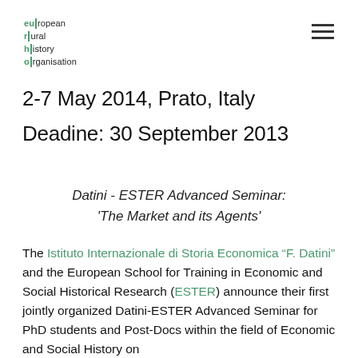european rural history organisation
2-7 May 2014, Prato, Italy
Deadine: 30 September 2013
Datini - ESTER Advanced Seminar: 'The Market and its Agents'
The Istituto Internazionale di Storia Economica “F. Datini” and the European School for Training in Economic and Social Historical Research (ESTER) announce their first jointly organized Datini-ESTER Advanced Seminar for PhD students and Post-Docs within the field of Economic and Social History on